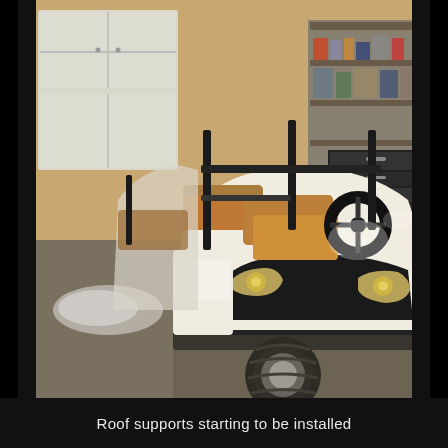[Figure (photo): A white golf cart with brown/tan seats still wrapped in protective plastic, parked inside a garage. The cart appears to be a multi-passenger model with a steering wheel visible. The garage has tool storage shelving in the background, a roller cabinet on the right, and a garage door on the left. The cart has large black tires and chrome wheels visible at the bottom front.]
Roof supports starting to be installed